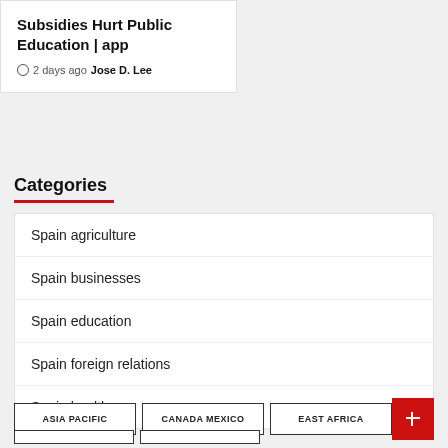Subsidies Hurt Public Education | app
2 days ago  Jose D. Lee
Categories
Spain agriculture
Spain businesses
Spain education
Spain foreign relations
Spain healthcare
ASIA PACIFIC  CANADA MEXICO  EAST AFRICA